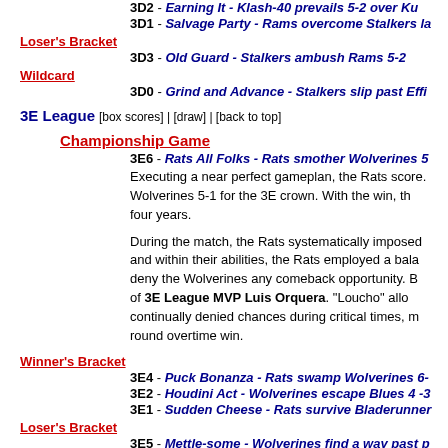3D2 - Earning It - Klash-40 prevails 5-2 over Ku...
3D1 - Salvage Party - Rams overcome Stalkers la...
Loser's Bracket
3D3 - Old Guard - Stalkers ambush Rams 5-2
Wildcard
3D0 - Grind and Advance - Stalkers slip past Effi...
3E League [box scores] | [draw] | [back to top]
Championship Game
3E6 - Rats All Folks - Rats smother Wolverines 5...
Executing a near perfect gameplan, the Rats score... Wolverines 5-1 for the 3E crown. With the win, th... four years.
During the match, the Rats systematically imposed... and within their abilities, the Rats employed a bala... deny the Wolverines any comeback opportunity. B... of 3E League MVP Luis Orquera. "Loucho" all... continually denied chances during critical times, m... round overtime win.
Winner's Bracket
3E4 - Puck Bonanza - Rats swamp Wolverines 6-...
3E2 - Houdini Act - Wolverines escape Blues 4 -3...
3E1 - Sudden Cheese - Rats survive Bladerunner...
Loser's Bracket
3E5 - Mettle-some - Wolverines find a way past p...
3E3 - Chinny, chin, chin- Blues eke past Bladeru...
Wildcard
3Ew2 - Blues Power - Blues rally late, buck Bucs...